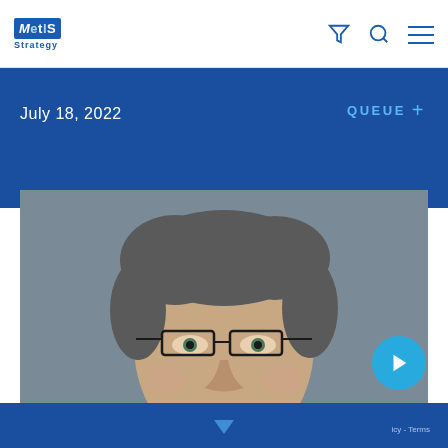Metis Strategy
July 18, 2022
QUEUE +
[Figure (photo): Close-up headshot of a middle-aged man with short gray hair and rectangular glasses, photographed against a gray background]
icy - Terms